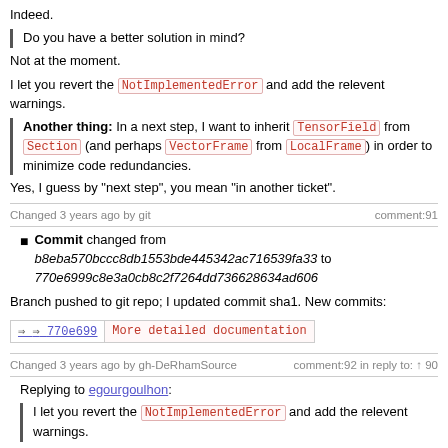Indeed.
Do you have a better solution in mind?
Not at the moment.
I let you revert the NotImplementedError and add the relevent warnings.
Another thing: In a next step, I want to inherit TensorField from Section (and perhaps VectorFrame from LocalFrame) in order to minimize code redundancies.
Yes, I guess by "next step", you mean "in another ticket".
Changed 3 years ago by git  comment:91
Commit changed from b8eba570bccc8db1553bde445342ac716539fa33 to 770e6999c8e3a0cb8c2f7264dd736628634ad606
Branch pushed to git repo; I updated commit sha1. New commits:
| sha | message |
| --- | --- |
| 770e699 | More detailed documentation |
Changed 3 years ago by gh-DeRhamSource  comment:92 in reply to: ↑ 90
Replying to egourgoulhon:
I let you revert the NotImplementedError and add the relevent warnings.
Done.